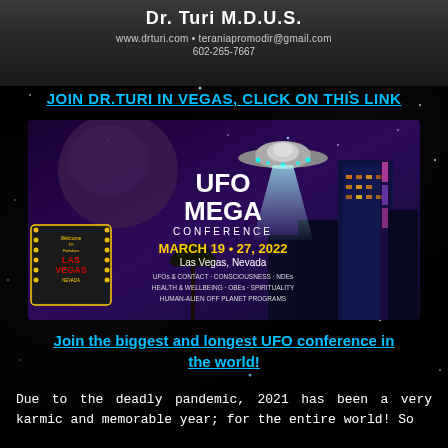Dr. Turi M.D.U.S.
www.drturi.com • teraniapromodir@gmail.com
602-265-7667
JOIN DR.TURI IN VEGAS, CLICK ON THIS LINK
[Figure (illustration): UFO Mega Conference promotional banner. Shows a UFO flying saucer beaming light, a Las Vegas Welcome sign, and a Las Vegas hotel strip skyline at night with purple/blue sky. Text reads: UFO MEGA CONFERENCE, MARCH 19 - 27, 2022, Las Vegas, Nevada. Topics: UFOs & CONTACT, CONSCIOUSNESS, NDEs, HEALTH & WELLBEING, OBEs, SPIRITUALITY, HUMAN-ALIEN OFF PLANET PROGRAMS.]
Join the biggest and longest UFO conference in the world!
Due to the deadly pandemic, 2021 has been a very karmic and memorable year; for the entire world! So